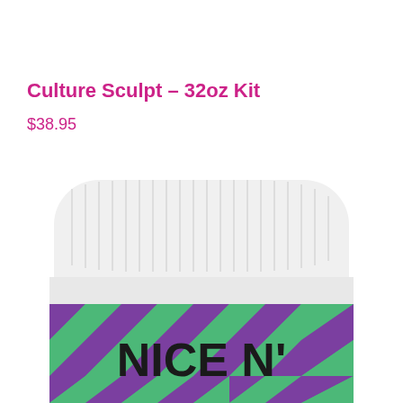Culture Sculpt – 32oz Kit
$38.95
[Figure (photo): A large white-capped jar with a green and purple geometric triangle pattern label reading 'NICE N'' visible at the bottom of the image, cropped showing the top and upper portion of the product container.]